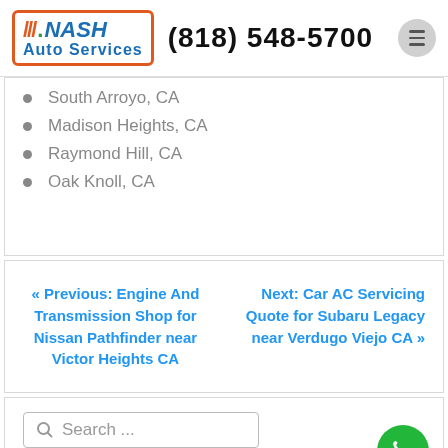NASH Auto Services (818) 548-5700
South Arroyo, CA
Madison Heights, CA
Raymond Hill, CA
Oak Knoll, CA
« Previous: Engine And Transmission Shop for Nissan Pathfinder near Victor Heights CA
Next: Car AC Servicing Quote for Subaru Legacy near Verdugo Viejo CA »
Search ...